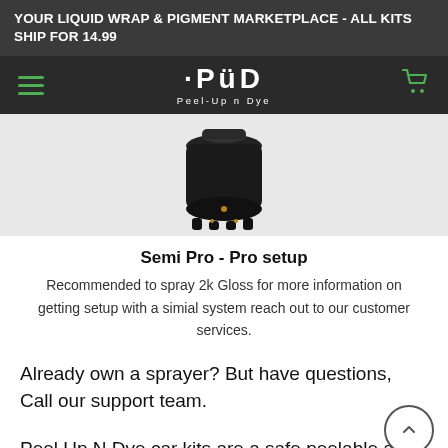YOUR LIQUID WRAP & PIGMENT MARKETPLACE - ALL KITS SHIP FOR 14.99
[Figure (logo): Peel-Up n Dye logo with PUD stylized text and tagline Peel-Up n Dye]
[Figure (photo): Dark spray gun or canister product image on light background]
Semi Pro - Pro setup
Recommended to spray 2k Gloss for more information on getting setup with a simial system reach out to our customer services.
Already own a sprayer? But have questions, Call our support team.
Peel Up N Dye car kits are a safe peelable auto